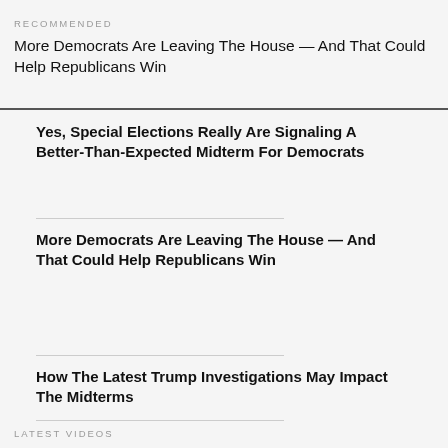RECOMMENDED
More Democrats Are Leaving The House — And That Could Help Republicans Win
Yes, Special Elections Really Are Signaling A Better-Than-Expected Midterm For Democrats
More Democrats Are Leaving The House — And That Could Help Republicans Win
How The Latest Trump Investigations May Impact The Midterms
LATEST VIDEOS